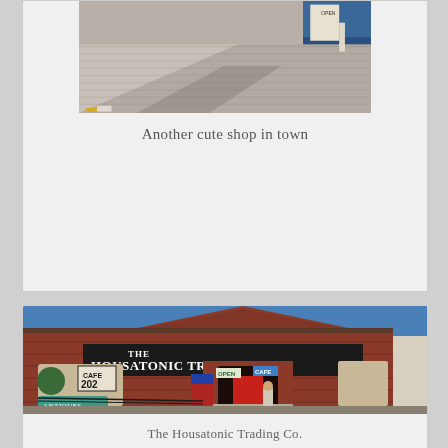[Figure (photo): Top portion of a photo showing a cobblestone street/sidewalk area with shadows, a blue vehicle partially visible at top right, and what appears to be a shop exterior.]
Another cute shop in town
[Figure (photo): Exterior photo of The Housatonic Trading Co., a red brick building with a large black sign reading 'THE HOUSATONIC TRADING CO.' A person stands on the steps near the entrance. Signs for Cafe 202, CAFE, OPEN, and ANTIQUES are visible. An American flag and other decorative items are near the entrance. Bare trees visible to the right under a blue sky.]
The Housatonic Trading Co.